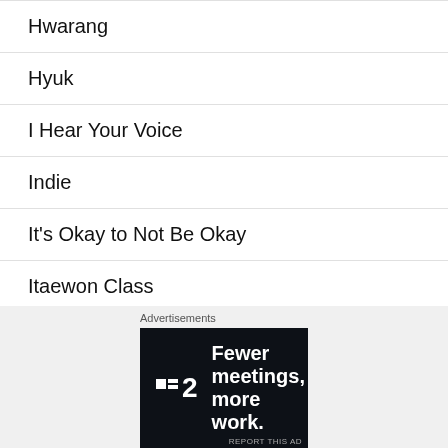Hwarang
Hyuk
I Hear Your Voice
Indie
It's Okay to Not Be Okay
Itaewon Class
IU
Advertisements
[Figure (other): Advertisement banner: Taskade logo (P2) with text 'Fewer meetings, more work.' on dark background]